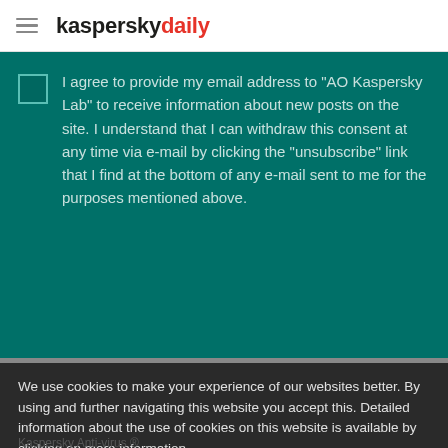kaspersky daily
I agree to provide my email address to "AO Kaspersky Lab" to receive information about new posts on the site. I understand that I can withdraw this consent at any time via e-mail by clicking the "unsubscribe" link that I find at the bottom of any e-mail sent to me for the purposes mentioned above.
We use cookies to make your experience of our websites better. By using and further navigating this website you accept this. Detailed information about the use of cookies on this website is available by clicking on more information.
ACCEPT AND CLOSE
Kaspersky Internet Security